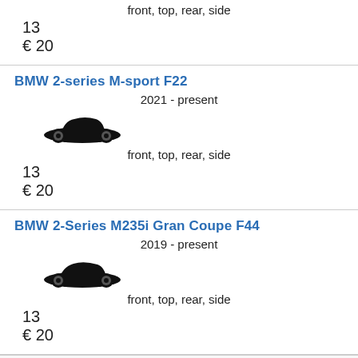front, top, rear, side
13
€ 20
BMW 2-series M-sport F22
2021 - present
[Figure (illustration): Black silhouette of a sedan car viewed from the side]
front, top, rear, side
13
€ 20
BMW 2-Series M235i Gran Coupe F44
2019 - present
[Figure (illustration): Black silhouette of a sedan car viewed from the side]
front, top, rear, side
13
€ 20